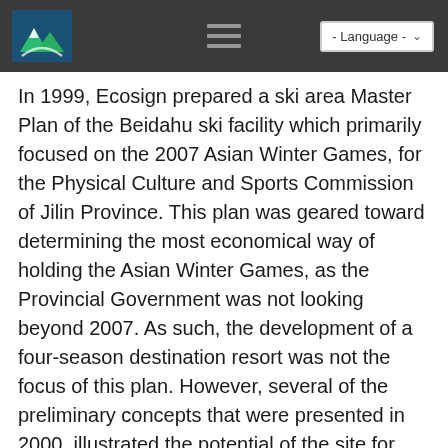Ecosign - Language
In 1999, Ecosign prepared a ski area Master Plan of the Beidahu ski facility which primarily focused on the 2007 Asian Winter Games, for the Physical Culture and Sports Commission of Jilin Province. This plan was geared toward determining the most economical way of holding the Asian Winter Games, as the Provincial Government was not looking beyond 2007. As such, the development of a four-season destination resort was not the focus of this plan. However, several of the preliminary concepts that were presented in 2000, illustrated the potential of the site for destination development which included a resort village with overnight accommodation and high speed, detachable